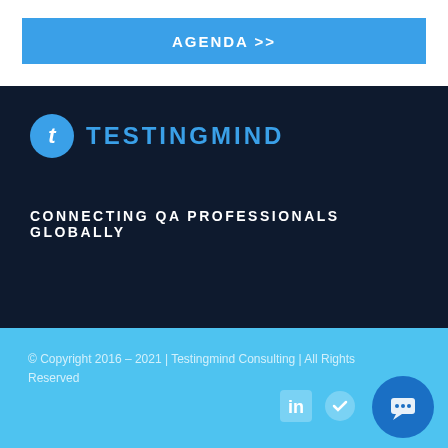AGENDA >>
[Figure (logo): TestingMind logo with blue circle containing italic t and blue text TESTINGMIND]
CONNECTING QA PROFESSIONALS GLOBALLY
© Copyright 2016 – 2021 | Testingmind Consulting | All Rights Reserved